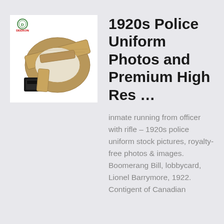[Figure (photo): A tan/khaki tactical belt with black buckle, coiled/folded, with a DEEKON brand logo visible in the top left corner of the image on a white background.]
1920s Police Uniform Photos and Premium High Res …
inmate running from officer with rifle – 1920s police uniform stock pictures, royalty-free photos & images. Boomerang Bill, lobbycard, Lionel Barrymore, 1922. Contigent of Canadian